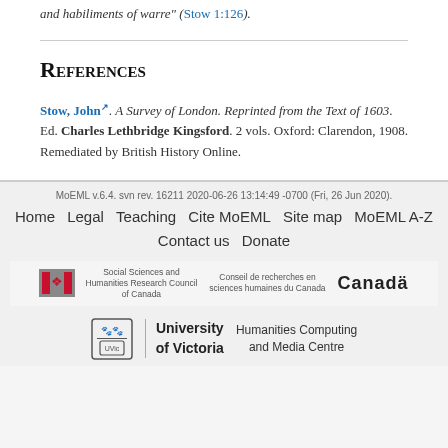and habiliments of warre" (Stow 1:126).
References
Stow, John. A Survey of London. Reprinted from the Text of 1603. Ed. Charles Lethbridge Kingsford. 2 vols. Oxford: Clarendon, 1908. Remediated by British History Online.
MoEML v.6.4. svn rev. 16211 2020-06-26 13:14:49 -0700 (Fri, 26 Jun 2020). Home  Legal  Teaching  Cite MoEML  Site map  MoEML A-Z  Contact us  Donate